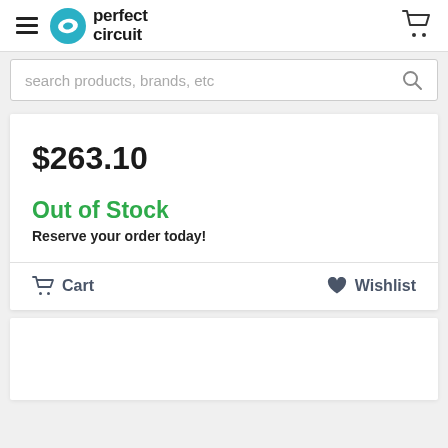Perfect Circuit
search products, brands, etc
$263.10
Out of Stock
Reserve your order today!
Cart   Wishlist